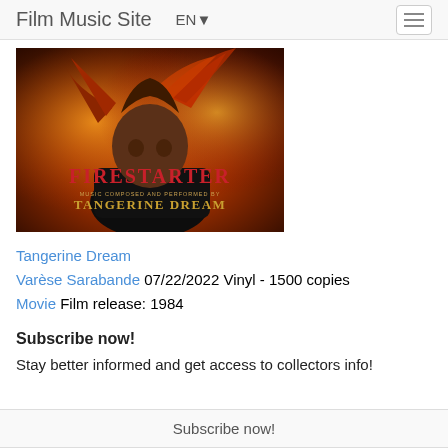Film Music Site   EN▼
[Figure (photo): Album cover for Firestarter soundtrack. A young girl with windswept reddish hair against a fiery orange-red background. Text on cover reads: FIRESTARTER / MUSIC COMPOSED AND PERFORMED BY / TANGERINE DREAM]
Tangerine Dream
Varèse Sarabande 07/22/2022 Vinyl - 1500 copies
Movie Film release: 1984
Subscribe now!
Stay better informed and get access to collectors info!
Subscribe now!